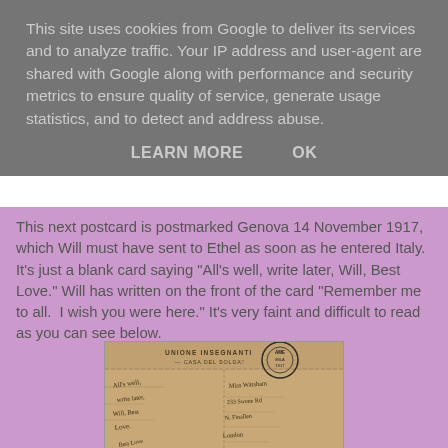This site uses cookies from Google to deliver its services and to analyze traffic. Your IP address and user-agent are shared with Google along with performance and security metrics to ensure quality of service, generate usage statistics, and to detect and address abuse.
LEARN MORE    OK
This next postcard is postmarked Genova 14 November 1917, which Will must have sent to Ethel as soon as he entered Italy.  It's just a blank card saying "All's well, write later, Will, Best Love." Will has written on the front of the card "Remember me to all.  I wish you were here." It's very faint and difficult to read as you can see below.
[Figure (photo): A scanned old postcard with handwritten text. The top shows printed text 'UNIONE INSEGNANTI - CASA DEL SOLDATO' with a circular postmark stamp. Below are handwritten notes including 'All's well, write later' on the left side and a recipient address on the right side. The card is aged and brownish.]